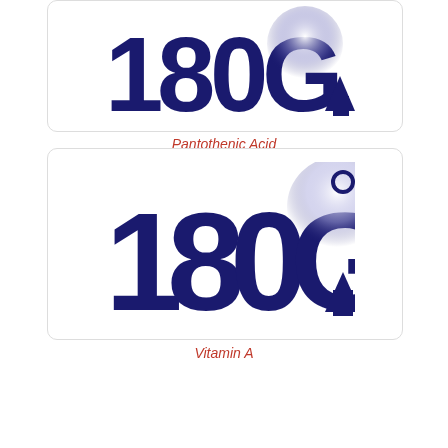[Figure (logo): 180G logo in dark navy blue with a stylized 180 and G with an upward arrow, shown on white rounded card background. The G has a gradient/glow effect.]
Pantothenic Acid
[Figure (logo): 180G logo in dark navy blue with a stylized 180 and G with an upward arrow and a degree symbol, shown on white rounded card background. The G has a white gradient/glow effect.]
Vitamin A